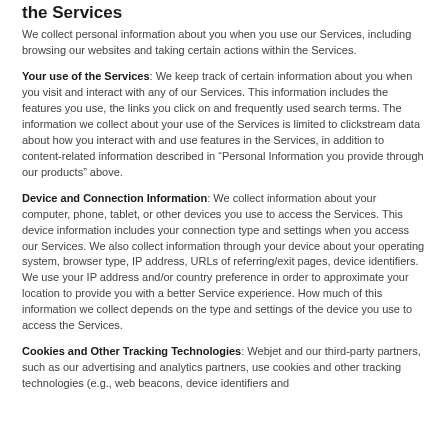the Services
We collect personal information about you when you use our Services, including browsing our websites and taking certain actions within the Services.
Your use of the Services: We keep track of certain information about you when you visit and interact with any of our Services. This information includes the features you use, the links you click on and frequently used search terms. The information we collect about your use of the Services is limited to clickstream data about how you interact with and use features in the Services, in addition to content-related information described in "Personal Information you provide through our products" above.
Device and Connection Information: We collect information about your computer, phone, tablet, or other devices you use to access the Services. This device information includes your connection type and settings when you access our Services. We also collect information through your device about your operating system, browser type, IP address, URLs of referring/exit pages, device identifiers. We use your IP address and/or country preference in order to approximate your location to provide you with a better Service experience. How much of this information we collect depends on the type and settings of the device you use to access the Services.
Cookies and Other Tracking Technologies: Webjet and our third-party partners, such as our advertising and analytics partners, use cookies and other tracking technologies (e.g., web beacons, device identifiers and